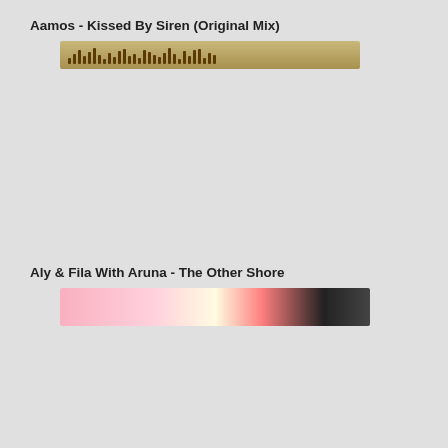Aamos - Kissed By Siren (Original Mix)
[Figure (other): Audio waveform player bar for Aamos - Kissed By Siren]
Aly & Fila With Aruna - The Other Shore
[Figure (other): Album art thumbnail strip for Aly & Fila With Aruna - The Other Shore showing sun/pink/floral imagery]
Elian West - Miracle (Original Mix)
You mu...
Get The Links for this Post
Related News:
Kaimo K & Cathy Burton - You De
Kaimo K, Cathy Burton - You Des
Kaimo K, Cathy Burton - You Des
Space Rockerz & Cathy Burton - L
Beat Service feat. Cathy Burton - V
Julian Vincent ft. Cathy Burton - N
Julian Vincent feat. Cathy Burton -
John O'Callaghan feat. Cathy Burto
Beat Service, Cathy Burton - Love
Cathy Burton - Heaven (DNS Proj
A.R.D.I. - Reason 2 Life (Original
Space Rockerz Cathy Burton - Lea
Dart Rayne & Yura Moonlight Ft. C
Cathy Burton - Torn (F.G. Noise R
Bluefire & Photographer Feat. Cat
Beat Service Ft Cathy Burton - Lo
Cathy Burton - Heaven (Dave Shif
Feel - Breath of Life (Original Mix
Cathy Burton - Reach Out To Me (
Andre Visior Feat. Cathy Burton -
Rating:
(Votes #: 0)